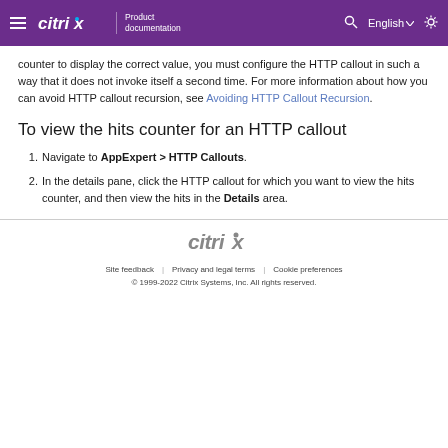Citrix Product documentation
counter to display the correct value, you must configure the HTTP callout in such a way that it does not invoke itself a second time. For more information about how you can avoid HTTP callout recursion, see Avoiding HTTP Callout Recursion.
To view the hits counter for an HTTP callout
1. Navigate to AppExpert > HTTP Callouts.
2. In the details pane, click the HTTP callout for which you want to view the hits counter, and then view the hits in the Details area.
Site feedback | Privacy and legal terms | Cookie preferences © 1999-2022 Citrix Systems, Inc. All rights reserved.